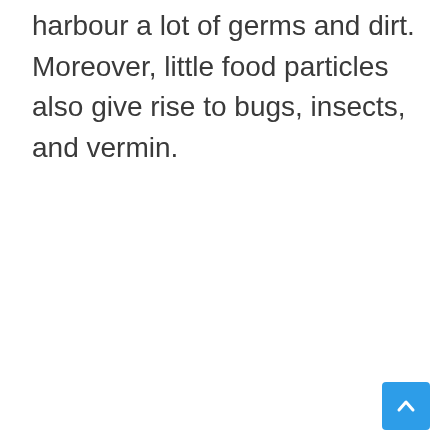harbour a lot of germs and dirt. Moreover, little food particles also give rise to bugs, insects, and vermin.